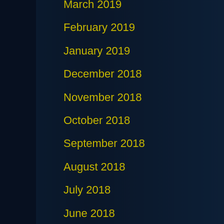March 2019
February 2019
January 2019
December 2018
November 2018
October 2018
September 2018
August 2018
July 2018
June 2018
May 2018
April 2018
March 2018